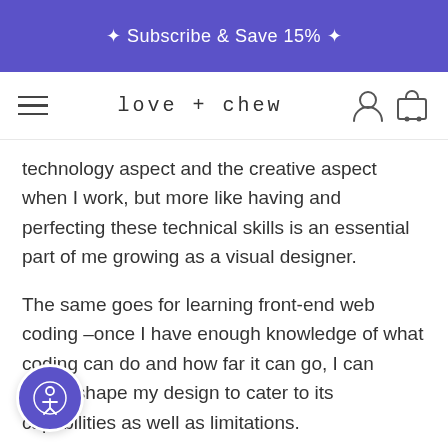✦ Subscribe & Save 15% ✦
love + chew
technology aspect and the creative aspect when I work, but more like having and perfecting these technical skills is an essential part of me growing as a visual designer.
The same goes for learning front-end web coding –once I have enough knowledge of what coding can do and how far it can go, I can better shape my design to cater to its capabilities as well as limitations.